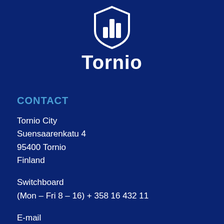[Figure (logo): Tornio city logo: white shield/coat of arms with bar chart symbol inside, with bold white text 'Tornio' below]
CONTACT
Tornio City
Suensaarenkatu 4
95400 Tornio
Finland
Switchboard
(Mon – Fri 8 – 16) + 358 16 432 11
E-mail
Registry office
kirjaamo@tornio.fi